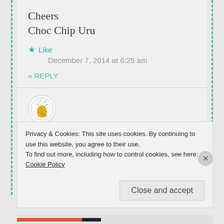Cheers
Choc Chip Uru
★ Like
December 7, 2014 at 6:25 am
« REPLY
[Figure (illustration): Circular avatar with pineapple illustration]
The Novice Gardener says:
I'll take a look and un-spam, okay? So sorry to
Privacy & Cookies: This site uses cookies. By continuing to use this website, you agree to their use.
To find out more, including how to control cookies, see here:
Cookie Policy
Close and accept